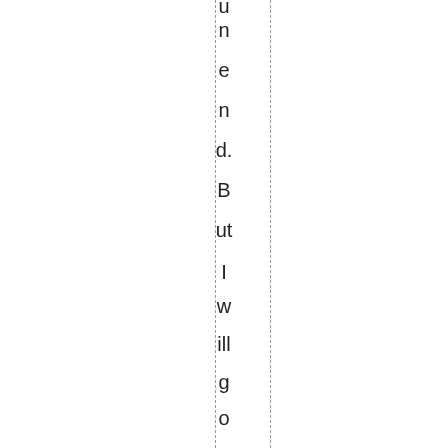u n e n d. B ut I w ill g o o ut w it h a bi g li st. T hi s